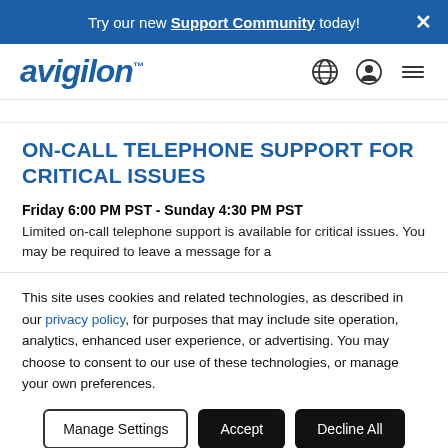Try our new Support Community today!
[Figure (logo): Avigilon logo with globe, user, and hamburger menu icons]
ON-CALL TELEPHONE SUPPORT FOR CRITICAL ISSUES
Friday 6:00 PM PST - Sunday 4:30 PM PST
Limited on-call telephone support is available for critical issues. You may be required to leave a message for a
This site uses cookies and related technologies, as described in our privacy policy, for purposes that may include site operation, analytics, enhanced user experience, or advertising. You may choose to consent to our use of these technologies, or manage your own preferences.
Manage Settings | Accept | Decline All